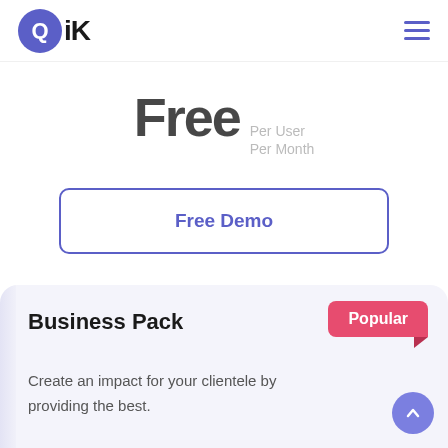QiK
Free Per User Per Month
Free Demo
Business Pack
Popular
Create an impact for your clientele by providing the best.